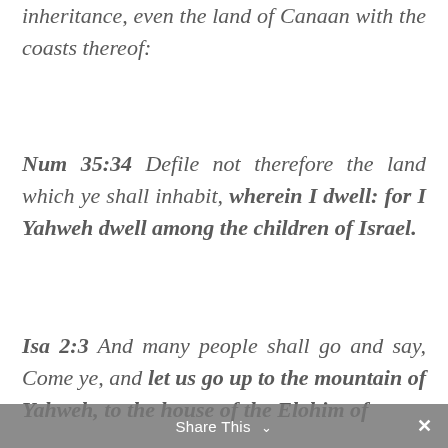inheritance, even the land of Canaan with the coasts thereof:
Num 35:34 Defile not therefore the land which ye shall inhabit, wherein I dwell: for I Yahweh dwell among the children of Israel.
Isa 2:3 And many people shall go and say, Come ye, and let us go up to the mountain of Yahweh, to the house of the Elohim of
Share This ∨  ×